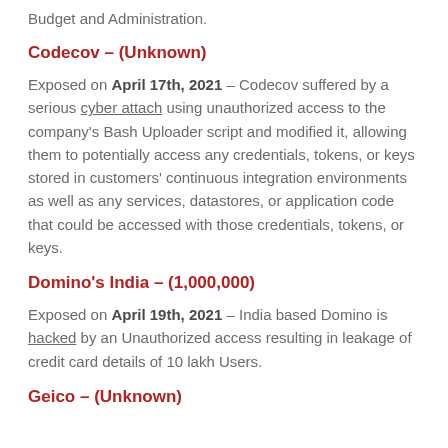Budget and Administration.
Codecov – (Unknown)
Exposed on April 17th, 2021 – Codecov suffered by a serious cyber attach using unauthorized access to the company's Bash Uploader script and modified it, allowing them to potentially access any credentials, tokens, or keys stored in customers' continuous integration environments as well as any services, datastores, or application code that could be accessed with those credentials, tokens, or keys.
Domino's India – (1,000,000)
Exposed on April 19th, 2021 – India based Domino is hacked by an Unauthorized access resulting in leakage of credit card details of 10 lakh Users.
Geico – (Unknown)